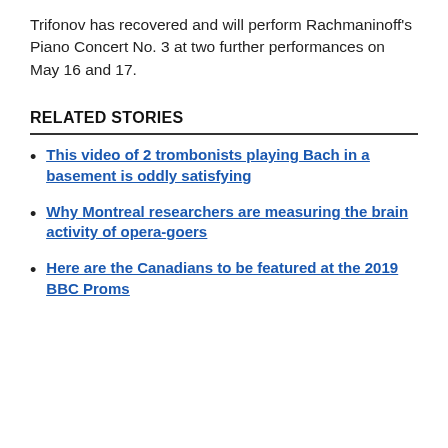Trifonov has recovered and will perform Rachmaninoff's Piano Concert No. 3 at two further performances on May 16 and 17.
RELATED STORIES
This video of 2 trombonists playing Bach in a basement is oddly satisfying
Why Montreal researchers are measuring the brain activity of opera-goers
Here are the Canadians to be featured at the 2019 BBC Proms